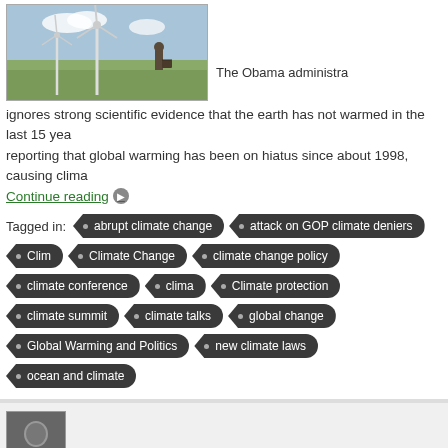[Figure (photo): Photo of a person standing near wind turbines in a field under a partly cloudy sky]
The Obama administra...
ignores strong scientific evidence that the earth has not warmed in the last 15 years, reporting that global warming has been on hiatus since about 1998, causing clima...
Continue reading →
Tagged in: abrupt climate change · attack on GOP climate deniers · Climate Change · climate change policy · climate conference · Climate protection · climate summit · climate talks · global change · Global Warming and Politics · new climate laws · ocean and climate
[Figure (photo): Black and white avatar/profile photo of a person]
Hits: 2529  0 Comments  ★★★★★ 1
UN Reports 2013 Warmest Year on Record